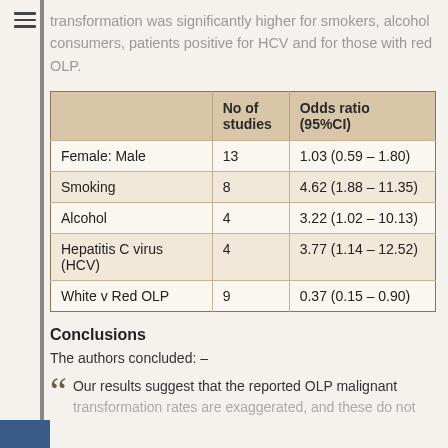transformation was significantly higher for smokers, alcohol consumers, patients positive for HCV and for those with red OLP.
|  | No of studies | Odds ratio (95%CI) |
| --- | --- | --- |
| Female: Male | 13 | 1.03 (0.59 – 1.80) |
| Smoking | 8 | 4.62 (1.88 – 11.35) |
| Alcohol | 4 | 3.22 (1.02 – 10.13) |
| Hepatitis C virus (HCV) | 4 | 3.77 (1.14 – 12.52) |
| White v Red OLP | 9 | 0.37 (0.15 – 0.90) |
Conclusions
The authors concluded: –
Our results suggest that the reported OLP malignant transformation rates are exaggerated, and these do not